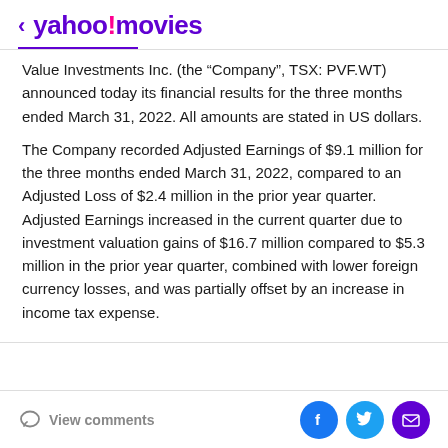< yahoo!movies
Value Investments Inc. (the “Company”, TSX: PVF.WT) announced today its financial results for the three months ended March 31, 2022. All amounts are stated in US dollars.
The Company recorded Adjusted Earnings of $9.1 million for the three months ended March 31, 2022, compared to an Adjusted Loss of $2.4 million in the prior year quarter. Adjusted Earnings increased in the current quarter due to investment valuation gains of $16.7 million compared to $5.3 million in the prior year quarter, combined with lower foreign currency losses, and was partially offset by an increase in income tax expense.
View comments